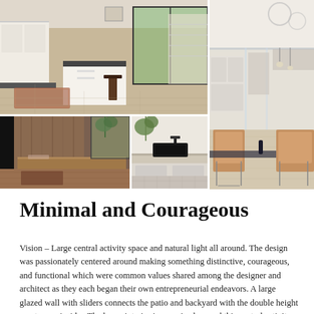[Figure (photo): Interior photo collage of a modern home showing kitchen with island and wood floors, open staircase, room with wood paneling and bench, bathroom with black sink vessel, and open plan living/dining area with glass walls and tan chairs]
Minimal and Courageous
Vision – Large central activity space and natural light all around. The design was passionately centered around making something distinctive, courageous, and functional which were common values shared among the designer and architect as they each began their own entrepreneurial endeavors. A large glazed wall with sliders connects the patio and backyard with the double height great room inside.  The home interior is organized around this central activity